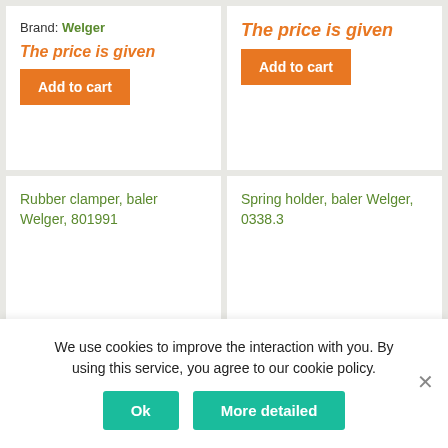Brand: Welger
The price is given
Add to cart
The price is given
Add to cart
Rubber clamper, baler Welger, 801991
Spring holder, baler Welger, 0338.3
We use cookies to improve the interaction with you. By using this service, you agree to our cookie policy.
Ok
More detailed